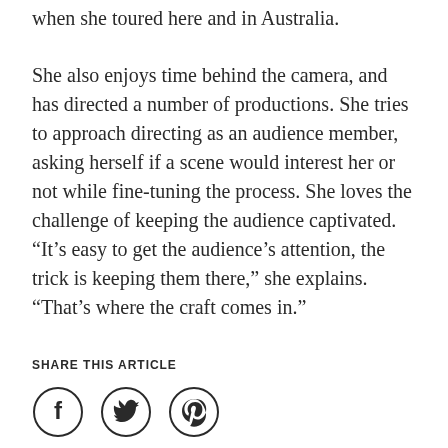when she toured here and in Australia.
She also enjoys time behind the camera, and has directed a number of productions. She tries to approach directing as an audience member, asking herself if a scene would interest her or not while fine-tuning the process. She loves the challenge of keeping the audience captivated. “It’s easy to get the audience’s attention, the trick is keeping them there,” she explains. “That’s where the craft comes in.”
SHARE THIS ARTICLE
[Figure (infographic): Three circular social media share icons: Facebook, Twitter, and Pinterest]